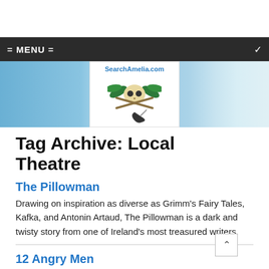= MENU =
[Figure (logo): SearchAmelia.com website logo with skull and crossbones pirate design with palm trees and a sword, overlaid on a beach/ocean banner image]
Tag Archive: Local Theatre
The Pillowman
Drawing on inspiration as diverse as Grimm's Fairy Tales, Kafka, and Antonin Artaud, The Pillowman is a dark and twisty story from one of Ireland's most treasured writers.
12 Angry Men